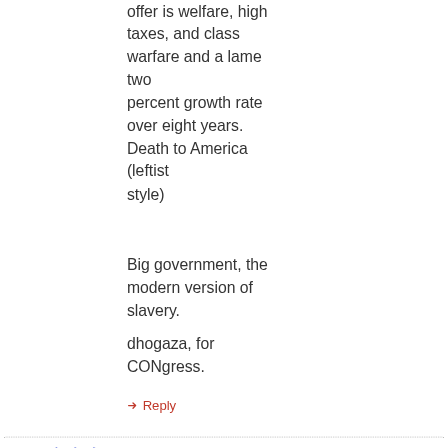offer is welfare, high taxes, and class warfare and a lame two percent growth rate over eight years. Death to America (leftist style)
Big government, the modern version of slavery.
dhogaza, for CONgress.
↳ Reply
July 31, 2018 at 7:46 am
[Figure (illustration): Blue and white geometric diamond pattern avatar icon for user 'dean']
dean
Yeah, with real wages down signicsntly since he took office, and with none of the benefits ignorantly promised and stupidly believed from the big tax cuts